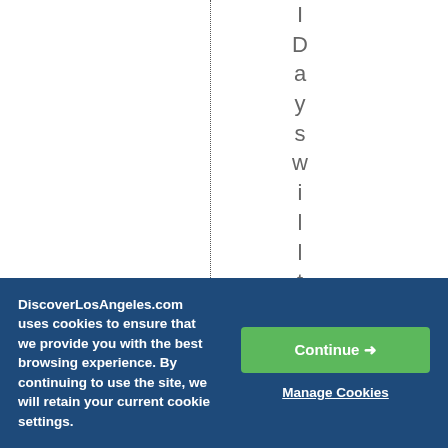I Days will take pla
DiscoverLosAngeles.com uses cookies to ensure that we provide you with the best browsing experience. By continuing to use the site, we will retain your current cookie settings.
Continue →
Manage Cookies